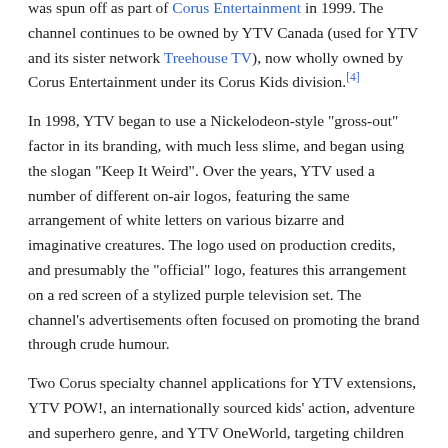was spun off as part of Corus Entertainment in 1999. The channel continues to be owned by YTV Canada (used for YTV and its sister network Treehouse TV), now wholly owned by Corus Entertainment under its Corus Kids division.[4]
In 1998, YTV began to use a Nickelodeon-style "gross-out" factor in its branding, with much less slime, and began using the slogan "Keep It Weird". Over the years, YTV used a number of different on-air logos, featuring the same arrangement of white letters on various bizarre and imaginative creatures. The logo used on production credits, and presumably the "official" logo, features this arrangement on a red screen of a stylized purple television set. The channel's advertisements often focused on promoting the brand through crude humour.
Two Corus specialty channel applications for YTV extensions, YTV POW!, an internationally sourced kids' action, adventure and superhero genre, and YTV OneWorld, targeting children from age 6 to 17 with travel, humour, games and STEM, were approved on September 18, 2008.[5] The YTV Oneworld license was used to launch Nickelodeon Canada.[6]